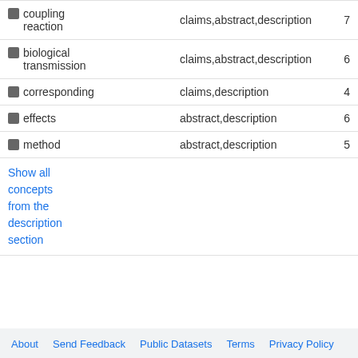| Concept | Location | Count |
| --- | --- | --- |
| coupling reaction | claims,abstract,description | 7 |
| biological transmission | claims,abstract,description | 6 |
| corresponding | claims,description | 4 |
| effects | abstract,description | 6 |
| method | abstract,description | 5 |
Show all concepts from the description section
About   Send Feedback   Public Datasets   Terms   Privacy Policy